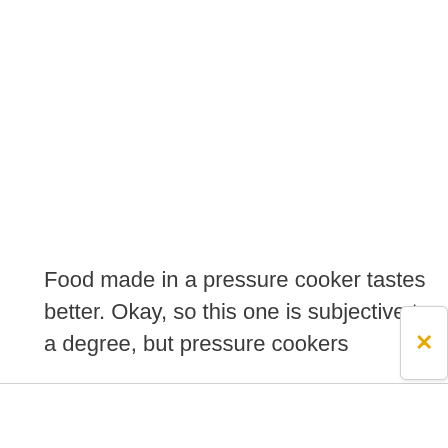Food made in a pressure cooker tastes better. Okay, so this one is subjective to a degree, but pressure cookers